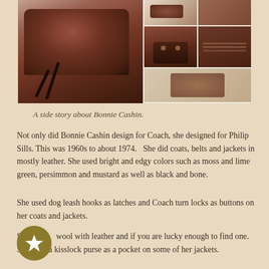[Figure (photo): Collage of photos showing a dark brown leather Coach handbag. Main large photo shows the bag laid flat with a strap. Smaller photos show the bottom of the bag, the interior label, and additional angles.]
A side story about Bonnie Cashin.
Not only did Bonnie Cashin design for Coach, she designed for Philip Sills. This was 1960s to about 1974.   She did coats, belts and jackets in mostly leather. She used bright and edgy colors such as moss and lime green, persimmon and mustard as well as black and bone.
She used dog leash hooks as latches and Coach turn locks as buttons on her coats and jackets.
She mixed wool with leather and if you are lucky enough to find one. She used a kisslock purse as a pocket on some of her jackets.